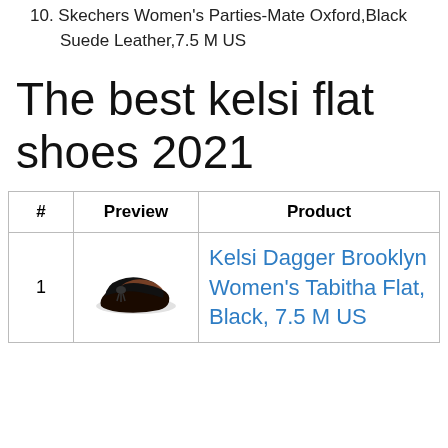10. Skechers Women's Parties-Mate Oxford,Black Suede Leather,7.5 M US
The best kelsi flat shoes 2021
| # | Preview | Product |
| --- | --- | --- |
| 1 | [shoe image] | Kelsi Dagger Brooklyn Women’s Tabitha Flat, Black, 7.5 M US |